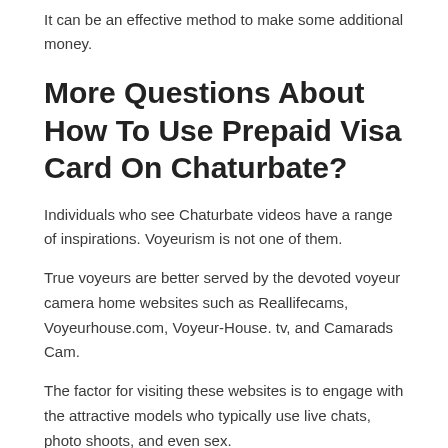It can be an effective method to make some additional money.
More Questions About How To Use Prepaid Visa Card On Chaturbate?
Individuals who see Chaturbate videos have a range of inspirations. Voyeurism is not one of them.
True voyeurs are better served by the devoted voyeur camera home websites such as Reallifecams, Voyeurhouse.com, Voyeur-House. tv, and Camarads Cam.
The factor for visiting these websites is to engage with the attractive models who typically use live chats, photo shoots, and even sex.
The Internet of Things (IoT) is a term utilized to describe the next